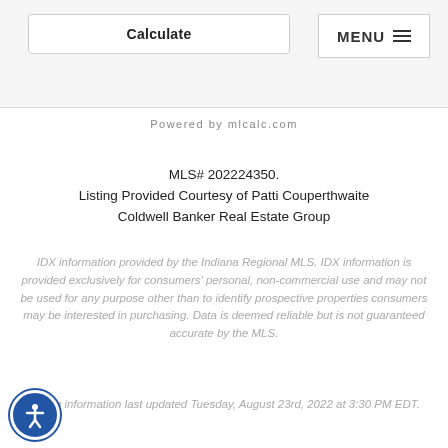Calculate | MENU
Powered by mlcalc.com
MLS# 202224350.
Listing Provided Courtesy of Patti Couperthwaite
Coldwell Banker Real Estate Group
IDX information provided by the Indiana Regional MLS. IDX information is provided exclusively for consumers' personal, non-commercial use and may not be used for any purpose other than to identify prospective properties consumers may be interested in purchasing. Data is deemed reliable but is not guaranteed accurate by the MLS.
Listing information last updated Tuesday, August 23rd, 2022 at 3:30 PM EDT.